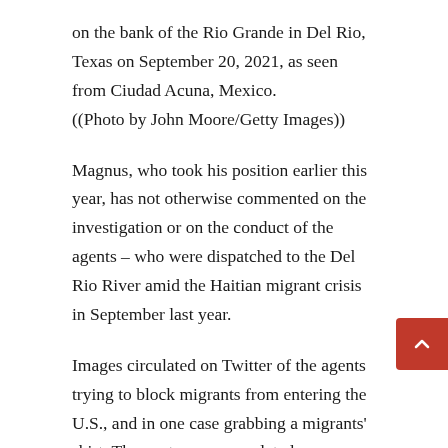on the bank of the Rio Grande in Del Rio, Texas on September 20, 2021, as seen from Ciudad Acuna, Mexico. ((Photo by John Moore/Getty Images))
Magnus, who took his position earlier this year, has not otherwise commented on the investigation or on the conduct of the agents – who were dispatched to the Del Rio River amid the Haitian migrant crisis in September last year.
Images circulated on Twitter of the agents trying to block migrants from entering the U.S., and in one case grabbing a migrants' shirt. The controversy escalated as some media outlets and Democratic lawmakers misidentified the agents' split reins, which they use and twirl to control and direct the horse — and falsely claimed the agents were using “whips” on the migrants.
Homeland Security Secretary Alejandro Mayorkas initially backed the agents, but later changed his message, saying that